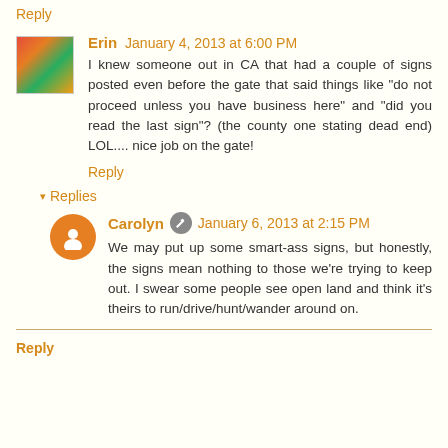Reply
Erin  January 4, 2013 at 6:00 PM
I knew someone out in CA that had a couple of signs posted even before the gate that said things like "do not proceed unless you have business here" and "did you read the last sign"? (the county one stating dead end) LOL.... nice job on the gate!
Reply
▾ Replies
Carolyn  January 6, 2013 at 2:15 PM
We may put up some smart-ass signs, but honestly, the signs mean nothing to those we're trying to keep out. I swear some people see open land and think it's theirs to run/drive/hunt/wander around on.
Reply